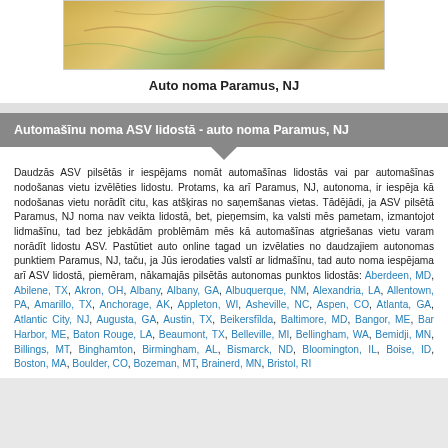[Figure (map): Colorful map image showing streets and regions, partially cropped at top]
Auto noma Paramus, NJ
Automašīnu noma ASV lidostā - auto noma Paramus, NJ
Daudzās ASV pilsētās ir iespējams nomāt automašīnas lidostās vai par automašīnas nodošanas vietu izvēlēties lidostu. Protams, ka arī Paramus, NJ, autonoma, ir iespēja kā nodošanas vietu norādīt citu, kas atšķiras no saņemšanas vietas. Tādējādi, ja ASV pilsētā Paramus, NJ noma nav veikta lidostā, bet, pieņemsim, ka valsti mēs pametam, izmantojot lidmašīnu, tad bez jebkādām problēmām mēs kā automašīnas atgriešanas vietu varam norādīt lidostu ASV. Pastūtiet auto online tagad un izvēlaties no daudzajiem autonomas punktiem Paramus, NJ, taču, ja Jūs ierodaties valstī ar lidmašīnu, tad auto noma iespējama arī ASV lidostā, piemēram, nākamajās pilsētās autonomas punktos lidostās: Aberdeen, MD, Abilene, TX, Akron, OH, Albany, Albany, GA, Albuquerque, NM, Alexandria, LA, Allentown, PA, Amarillo, TX, Anchorage, AK, Appleton, WI, Asheville, NC, Aspen, CO, Atlanta, GA, Atlantic City, NJ, Augusta, GA, Austin, TX, Beikersfīlda, Baltimore, MD, Bangor, ME, Bar Harbor, ME, Baton Rouge, LA, Beaumont, TX, Belleville, MI, Bellingham, WA, Bemidji, MN, Billings, MT, Binghamton, Birmingham, AL, Bismarck, ND, Bloomington, IL, Boise, ID, Boston, MA, Boulder, CO, Bozeman, MT, Brainerd, MN, Bristol, RI